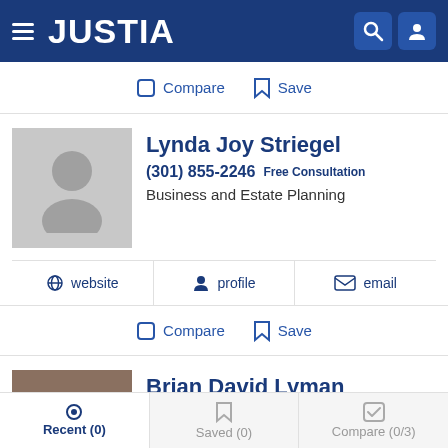JUSTIA
Compare  Save
Lynda Joy Striegel
(301) 855-2246 Free Consultation
Business and Estate Planning
website  profile  email
Compare  Save
Brian David Lyman
(410) 263-3131
Business, Appeals, Collections and IP
Recent (0)  Saved (0)  Compare (0/3)